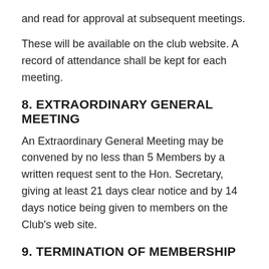and read for approval at subsequent meetings.
These will be available on the club website. A record of attendance shall be kept for each meeting.
8. EXTRAORDINARY GENERAL MEETING
An Extraordinary General Meeting may be convened by no less than 5 Members by a written request sent to the Hon. Secretary, giving at least 21 days clear notice and by 14 days notice being given to members on the Club's web site.
9. TERMINATION OF MEMBERSHIP
The membership of any Member may be terminated by the management committee at a meeting called to consider the question of such termination of